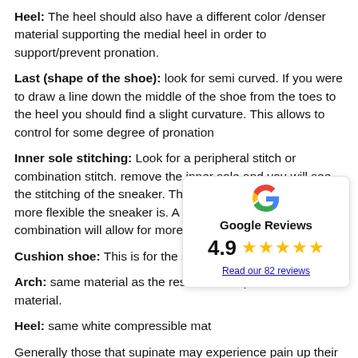Heel: The heel should also have a different color /denser material supporting the medial heel in order to support/prevent pronation.
Last (shape of the shoe): look for semi curved. If you were to draw a line down the middle of the shoe from the toes to the heel you should find a slight curvature. This allows to control for some degree of pronation
Inner sole stitching: Look for a peripheral stitch or combination stitch. remove the inner sole and you will see the stitching of the sneaker. The more seems you see the more flexible the sneaker is. A peripheral stitch or combination will allow for more stability of the sneaker
Cushion shoe: This is for the supinat
Arch: same material as the rest of th compressible material.
Heel: same white compressible mat
Generally those that supinate may experience pain up their lateral
[Figure (infographic): Google Reviews widget showing G logo, bold 'Google Reviews' text, rating of 4.9 with 5 gold stars, and a link 'Read our 82 reviews']